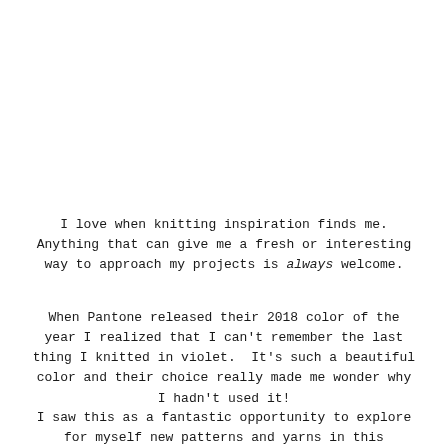I love when knitting inspiration finds me. Anything that can give me a fresh or interesting way to approach my projects is always welcome.
When Pantone released their 2018 color of the year I realized that I can't remember the last thing I knitted in violet.  It's such a beautiful color and their choice really made me wonder why I hadn't used it!
I saw this as a fantastic opportunity to explore for myself new patterns and yarns in this captivating color, and decided to share